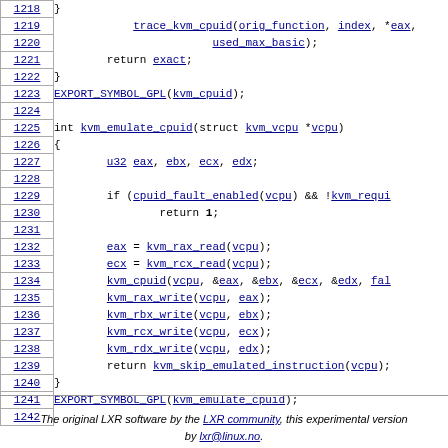Source code listing lines 1218-1242 of kvm cpuid function
The original LXR software by the LXR community, this experimental version by lxr@linux.no.